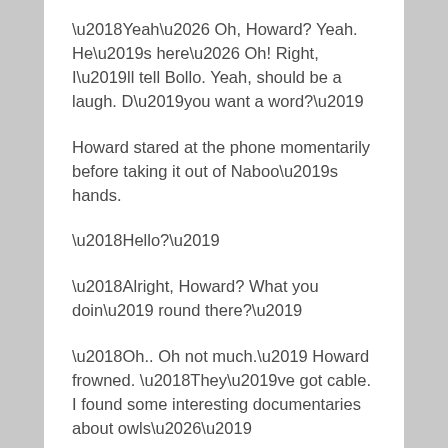‘Yeah… Oh, Howard? Yeah. He’s here… Oh! Right, I’ll tell Bollo. Yeah, should be a laugh. D’you want a word?’
Howard stared at the phone momentarily before taking it out of Naboo’s hands.
‘Hello?’
‘Alright, Howard? What you doin’ round there?’
‘Oh.. Oh not much.’ Howard frowned. ‘They’ve got cable. I found some interesting documentaries about owls…’
‘Yeah, that’s great Howard…. Listen.’
‘How.. How are you?’ Howard continued ‘How’s